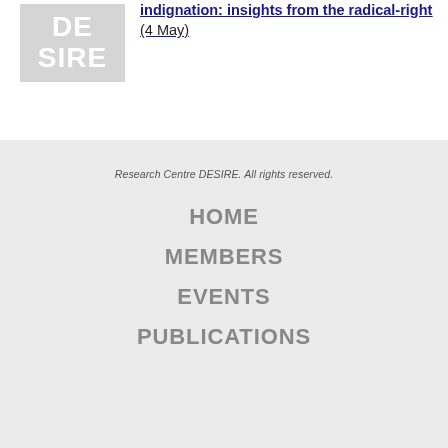[Figure (logo): DESIRE research centre logo, greyed out watermark box with DE and SIRE text]
indignation: insights from the radical-right (4 May)
Research Centre DESIRE. All rights reserved.
HOME
MEMBERS
EVENTS
PUBLICATIONS